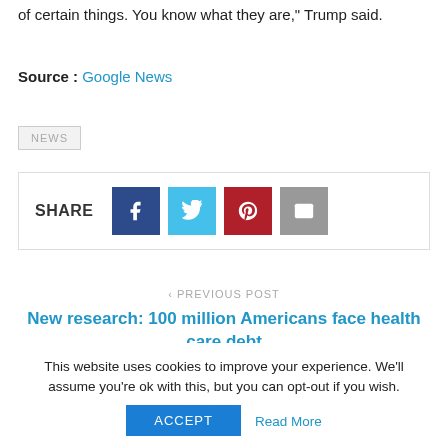of certain things. You know what they are," Trump said.
Source : Google News
NEWS
SHARE
< PREVIOUS POST
New research: 100 million Americans face health care debt
This website uses cookies to improve your experience. We'll assume you're ok with this, but you can opt-out if you wish.
ACCEPT
Read More